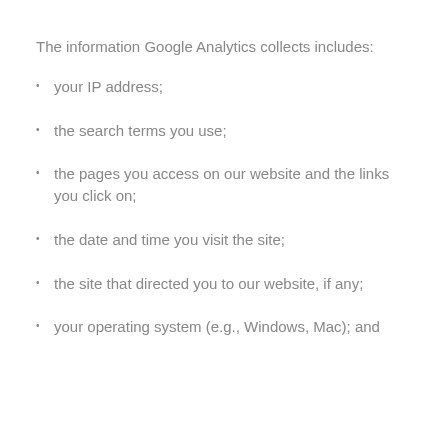The information Google Analytics collects includes:
your IP address;
the search terms you use;
the pages you access on our website and the links you click on;
the date and time you visit the site;
the site that directed you to our website, if any;
your operating system (e.g., Windows, Mac); and